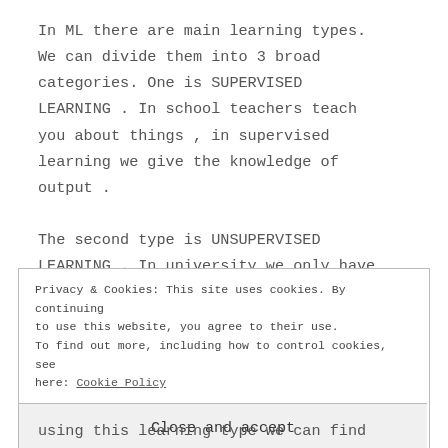In ML there are main learning types. We can divide them into 3 broad categories. One is SUPERVISED LEARNING . In school teachers teach you about things , in supervised learning we give the knowledge of output .
The second type is UNSUPERVISED LEARNING . In university we only have
Privacy & Cookies: This site uses cookies. By continuing to use this website, you agree to their use.
To find out more, including how to control cookies, see here: Cookie Policy
Close and accept
using this learning type we can find